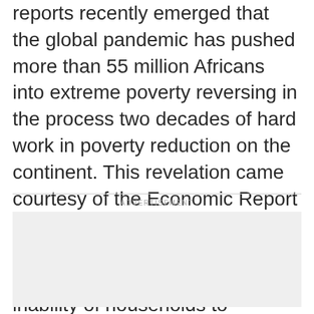reports recently emerged that the global pandemic has pushed more than 55 million Africans into extreme poverty reversing in the process two decades of hard work in poverty reduction on the continent. This revelation came courtesy of the Economic Report on Africa for 2021 which blamed the growing poverty on job losses, reduced income and the inability of households to manage risks.
[Figure (other): Advertisement placeholder box, light gray background]